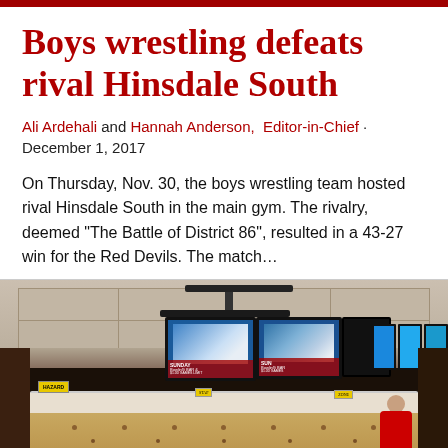Boys wrestling defeats rival Hinsdale South
Ali Ardehali and Hannah Anderson, Editor-in-Chief · December 1, 2017
On Thursday, Nov. 30, the boys wrestling team hosted rival Hinsdale South in the main gym. The rivalry, deemed "The Battle of District 86", resulted in a 43-27 win for the Red Devils. The match…
[Figure (photo): Indoor bowling alley scene with TV screens mounted from ceiling showing sports promotions, bowling lanes visible in foreground, person in red shirt at right edge]